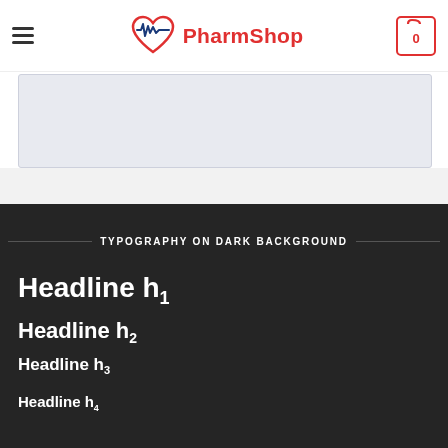PharmShop
[Figure (other): Light grey banner/placeholder below navigation]
TYPOGRAPHY ON DARK BACKGROUND
Headline h1
Headline h2
Headline h3
Headline h4